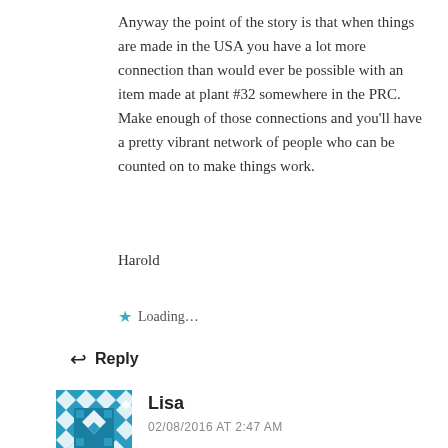Anyway the point of the story is that when things are made in the USA you have a lot more connection than would ever be possible with an item made at plant #32 somewhere in the PRC. Make enough of those connections and you'll have a pretty vibrant network of people who can be counted on to make things work.
Harold
Loading...
Reply
Lisa
02/08/2016 AT 2:47 AM
Another articulate and thought-provoking post, William. Thank you for sharing your thoughts